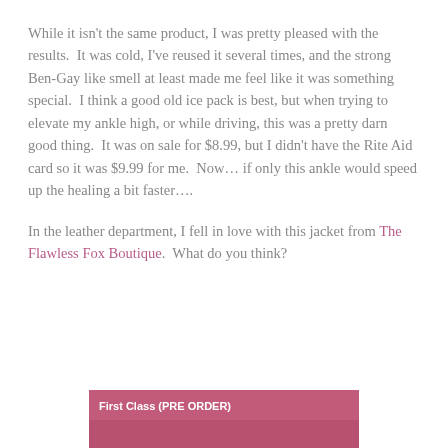While it isn't the same product, I was pretty pleased with the results.  It was cold, I've reused it several times, and the strong Ben-Gay like smell at least made me feel like it was something special.  I think a good old ice pack is best, but when trying to elevate my ankle high, or while driving, this was a pretty darn good thing.  It was on sale for $8.99, but I didn't have the Rite Aid card so it was $9.99 for me.  Now… if only this ankle would speed up the healing a bit faster….
In the leather department, I fell in love with this jacket from The Flawless Fox Boutique.  What do you think?
[Figure (other): Image of a product listing with a mauve/pink header bar reading 'First Class (PRE ORDER)' in bold white text, followed by a partially visible product image below.]